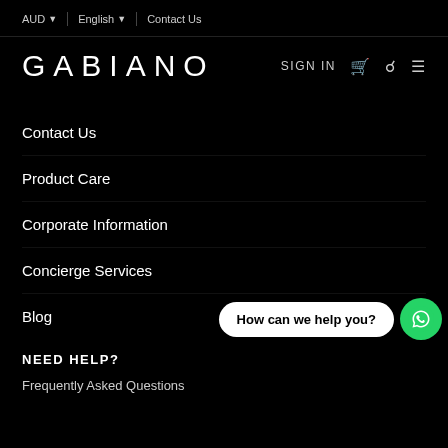AUD  English  Contact Us
GABIANO
SIGN IN
Contact Us
Product Care
Corporate Information
Concierge Services
Blog
[Figure (other): WhatsApp chat widget with bubble saying 'How can we help you?' and green WhatsApp icon button]
NEED HELP?
Frequently Asked Questions